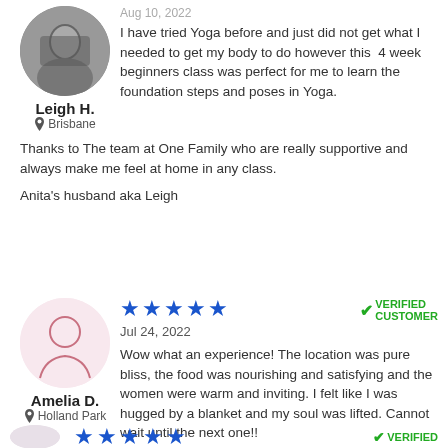[Figure (photo): Profile photo of Leigh H., a man, cropped in a circle, dark background]
Leigh H.
Brisbane
Aug 10, 2022
I have tried Yoga before and just did not get what I needed to get my body to do however this  4 week beginners class was perfect for me to learn the foundation steps and poses in Yoga.
Thanks to The team at One Family who are really supportive and always make me feel at home in any class.
Anita's husband aka Leigh
[Figure (illustration): Default avatar icon for Amelia D., pink circle with outline of a woman's head and shoulders]
Amelia D.
Holland Park
★★★★★  VERIFIED CUSTOMER
Jul 24, 2022
Wow what an experience! The location was pure bliss, the food was nourishing and satisfying and the women were warm and inviting. I felt like I was hugged by a blanket and my soul was lifted. Cannot wait until the next one!!
★★★★★  VERIFIED